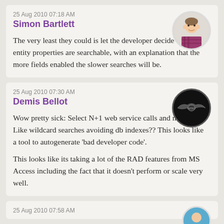25 Aug 2010 07:18 AM
Simon Bartlett
[Figure (photo): Avatar photo of Simon Bartlett - young man in plaid shirt]
The very least they could is let the developer decide which entity properties are searchable, with an explanation that the more fields enabled the slower searches will be.
25 Aug 2010 07:30 AM
Demis Bellot
[Figure (photo): Avatar logo - dark circular emblem with wings]
Wow pretty sick: Select N+1 web service calls and multiple Like wildcard searches avoiding db indexes?? This looks like a tool to autogenerate 'bad developer code'.
This looks like its taking a lot of the RAD features from MS Access including the fact that it doesn't perform or scale very well.
25 Aug 2010 07:58 AM